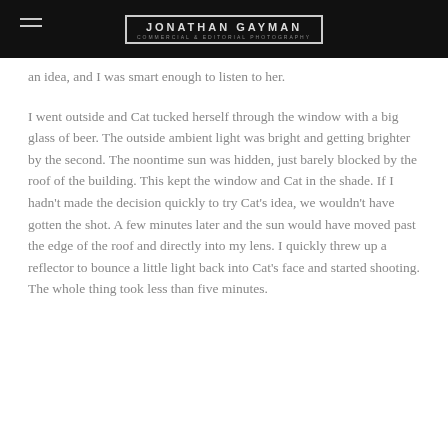JONATHAN GAYMAN — COMMERCIAL & EDITORIAL PHOTOGRAPHY
an idea, and I was smart enough to listen to her.
I went outside and Cat tucked herself through the window with a big glass of beer. The outside ambient light was bright and getting brighter by the second. The noontime sun was hidden, just barely blocked by the roof of the building. This kept the window and Cat in the shade. If I hadn't made the decision quickly to try Cat's idea, we wouldn't have gotten the shot. A few minutes later and the sun would have moved past the edge of the roof and directly into my lens. I quickly threw up a reflector to bounce a little light back into Cat's face and started shooting. The whole thing took less than five minutes.